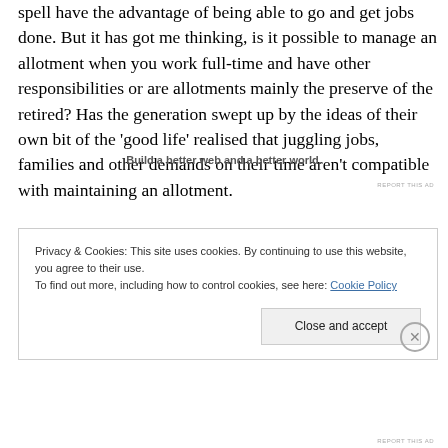spell have the advantage of being able to go and get jobs done. But it has got me thinking, is it possible to manage an allotment when you work full-time and have other responsibilities or are allotments mainly the preserve of the retired? Has the generation swept up by the ideas of their own bit of the 'good life' realised that juggling jobs, families and other demands on their time aren't compatible with maintaining an allotment.
Build a better web and a better world.
REPORT THIS AD
Privacy & Cookies: This site uses cookies. By continuing to use this website, you agree to their use.
To find out more, including how to control cookies, see here: Cookie Policy
Close and accept
REPORT THIS AD